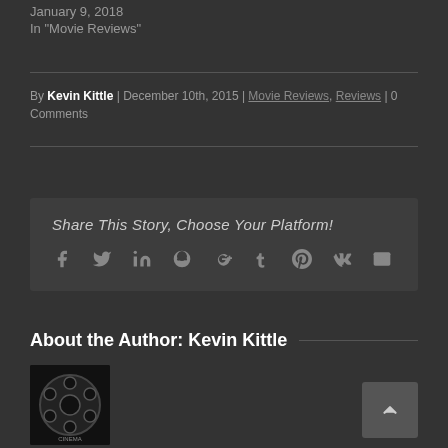January 9, 2018
In "Movie Reviews"
By Kevin Kittle | December 10th, 2015 | Movie Reviews, Reviews | 0 Comments
Share This Story, Choose Your Platform!
[Figure (illustration): Social media sharing icons: Facebook, Twitter, LinkedIn, Reddit, Google+, Tumblr, Pinterest, VK, Email]
About the Author: Kevin Kittle
[Figure (photo): Cinema film reel logo photo - black and white image of a film reel with 'CINEMA' text]